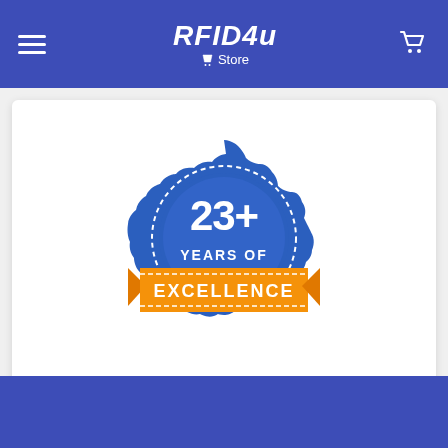RFID4u Store
[Figure (illustration): Blue scalloped badge/seal with '23+ YEARS OF EXCELLENCE' text and orange banner ribbon across the middle]
CHOOSE THE TRUSTED PARTNER FOR YOUR NEXT PROJECT.